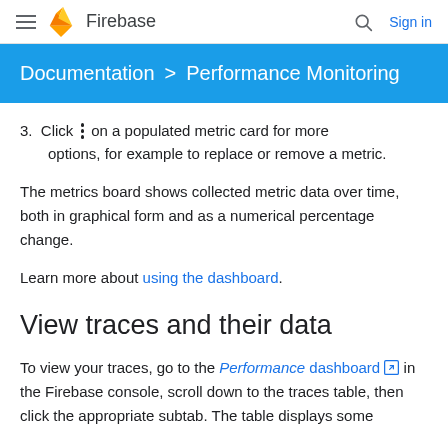Firebase — Documentation > Performance Monitoring
3. Click ⋮ on a populated metric card for more options, for example to replace or remove a metric.
The metrics board shows collected metric data over time, both in graphical form and as a numerical percentage change.
Learn more about using the dashboard.
View traces and their data
To view your traces, go to the Performance dashboard in the Firebase console, scroll down to the traces table, then click the appropriate subtab. The table displays some